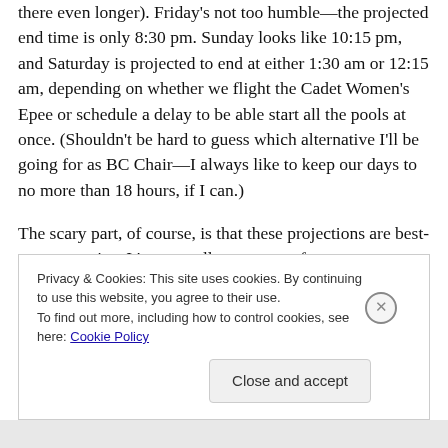there even longer). Friday's not too humble—the projected end time is only 8:30 pm. Sunday looks like 10:15 pm, and Saturday is projected to end at either 1:30 am or 12:15 am, depending on whether we flight the Cadet Women's Epee or schedule a delay to be able start all the pools at once. (Shouldn't be hard to guess which alternative I'll be going for as BC Chair—I always like to keep our days to no more than 18 hours, if I can.)
The scary part, of course, is that these projections are best-case scenarios. It's not at all uncommon for events (especially the point weapons) to slip by an hour or two
Privacy & Cookies: This site uses cookies. By continuing to use this website, you agree to their use.
To find out more, including how to control cookies, see here: Cookie Policy